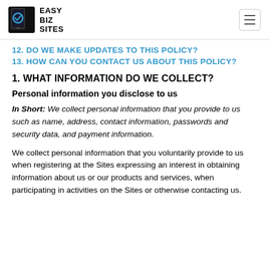EASY BIZ SITES
12. DO WE MAKE UPDATES TO THIS POLICY?
13. HOW CAN YOU CONTACT US ABOUT THIS POLICY?
1. WHAT INFORMATION DO WE COLLECT?
Personal information you disclose to us
In Short: We collect personal information that you provide to us such as name, address, contact information, passwords and security data, and payment information.
We collect personal information that you voluntarily provide to us when registering at the Sites expressing an interest in obtaining information about us or our products and services, when participating in activities on the Sites or otherwise contacting us.